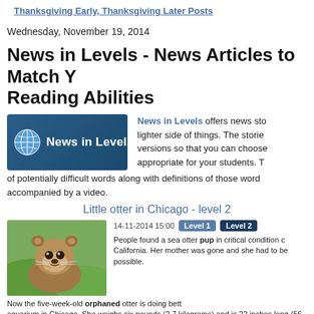Thanksgiving Early, Thanksgiving Later Posts
Wednesday, November 19, 2014
News in Levels - News Articles to Match Your Reading Abilities
[Figure (logo): News in Levels logo: dark blue rounded rectangle with globe icon and white text 'News in Levels']
News in Levels offers news stories from the lighter side of things. The stories come in three versions so that you can choose the level most appropriate for your students. They each have a list of potentially difficult words along with definitions of those words. Each story is accompanied by a video.
Little otter in Chicago - level 2
[Figure (photo): Photo of a young sea otter pup looking at the camera, with green grass/foliage in the background]
14-11-2014 15:00   Level 1   Level 2
People found a sea otter pup in critical condition on a beach in California. Her mother was gone and she had to be helped as fast as possible.
Now the five-week-old orphaned otter is doing better at the aquarium in Chicago. She weighs six pounds (2.7 kilograms) and is 22 inches long (56...). She drinks milk from a bottle and she is beginning to eat solid food.
Difficult words: pup (a young animal), orphaned (parentless), solid food (not liquid –